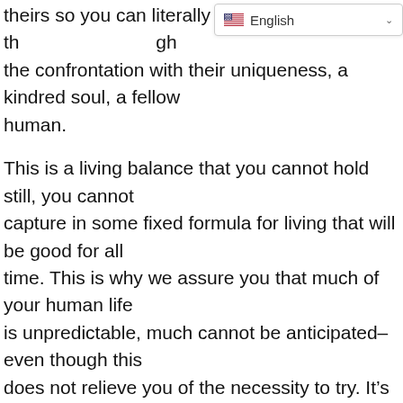[Figure (screenshot): Language selector dropdown showing US flag and 'English' label with a chevron arrow]
theirs so you can literally see in th... gh the confrontation with their uniqueness, a kindred soul, a fellow human.
This is a living balance that you cannot hold still, you cannot capture in some fixed formula for living that will be good for all time. This is why we assure you that much of your human life is unpredictable, much cannot be anticipated–even though this does not relieve you of the necessity to try. It's just that so much time can be wasted in being overly anxious and trying to evolve or develop some modality that will suit all situations. These anxieties are still functions of your ego awareness of yourself, your formalized ideas and notions of who you are and who you've been. In terms of time they are all coming out of the